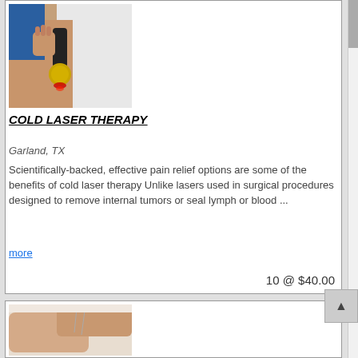[Figure (photo): A medical professional applying a cold laser therapy device to a patient's back/shoulder area. The device has a yellow/gold disc and emits red laser light.]
COLD LASER THERAPY
Garland, TX
Scientifically-backed, effective pain relief options are some of the benefits of cold laser therapy Unlike lasers used in surgical procedures designed to remove internal tumors or seal lymph or blood ...
more
10 @ $40.00
[Figure (photo): Hands of a person performing acupuncture or similar needle therapy on another person's hand/wrist area.]